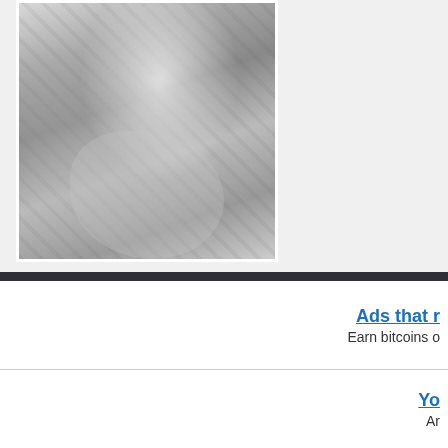[Figure (photo): Black and white photograph showing a person's torso and arm, with a patterned background visible]
Ads that r
Earn bitcoins o
Yo
Ar